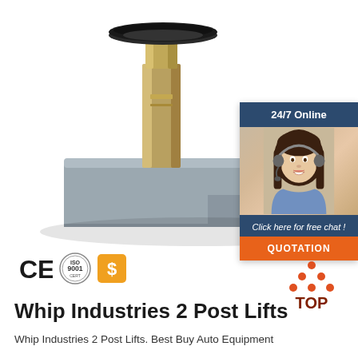[Figure (photo): Product photo of a 2-post lift arm swing pad / screw pin adapter component — grey cast metal base with cylindrical gold/zinc-plated steel pin and black rubber pad on top, on white background]
[Figure (infographic): Customer service chat widget with dark blue header '24/7 Online', photo of smiling woman with headset, text 'Click here for free chat!', and orange QUOTATION button]
[Figure (logo): CE mark, ISO 9001 certification badge, and orange dollar-sign badge certification icons]
[Figure (logo): TOP logo with orange dots forming a triangle above the word TOP in dark red/orange]
Whip Industries 2 Post Lifts
Whip Industries 2 Post Lifts. Best Buy Auto Equipment